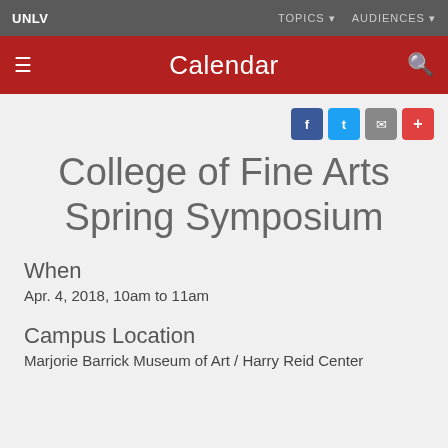UNLV | TOPICS  AUDIENCES
Calendar
[Figure (infographic): Social share icons: Facebook (blue), Twitter (light blue), Email (grey), Add/Plus (red)]
College of Fine Arts Spring Symposium
When
Apr. 4, 2018, 10am to 11am
Campus Location
Marjorie Barrick Museum of Art / Harry Reid Center